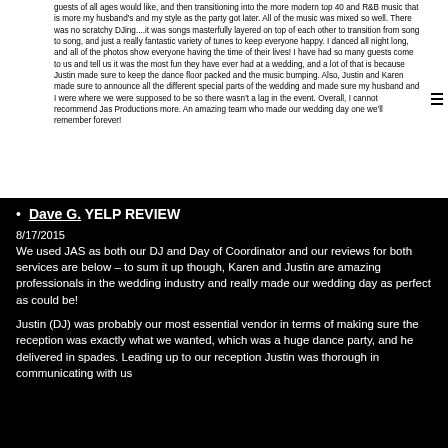guests of all ages would like, and then transitioning into the more modern top 40 and R&B music that is more my husband's and my style as the party got later. All of the music was mixed so well. There was no scratchy DJing....it was songs masterfully layered on top of each other to transition from song to song, and just a really fantastic variety of tunes to keep everyone happy. I danced all night long, and all of the photos show everyone having the time of their lives! I have had so many guests come to us and tell us it was the most fun they have ever had at a wedding, and a lot of that is because Justin made sure to keep the dance floor packed and the music bumping. Also, Justin and Karen made sure to announce all the different special parts of the wedding and made sure my husband and I were where we were supposed to be so there wasn't a lag in the event. Overall, I cannot recommend Jas Productions more. An amazing team who made our wedding day one we'll remember forever!
Dave G. YELP REVIEW
8/17/2015
We used JAS as both our DJ and Day of Coordinator and our reviews for both services are below – to sum it up though, Karen and Justin are amazing professionals in the wedding industry and really made our wedding day as perfect as could be!
Justin (DJ) was probably our most essential vendor in terms of making sure the reception was exactly what we wanted, which was a huge dance party, and he delivered in spades. Leading up to our reception Justin was thorough in communicating with us